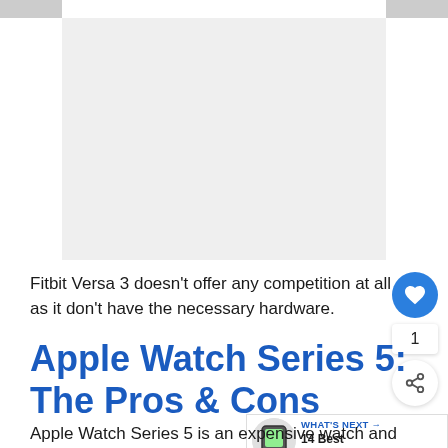[Figure (photo): Large image placeholder at top of page, shown as a light gray rectangle with two small gray tabs at top corners]
Fitbit Versa 3 doesn't offer any competition at all as it don't have the necessary hardware.
Apple Watch Series 5: The Pros & Cons
[Figure (other): WHAT'S NEXT panel with a smartwatch image and text '14 Best Smartwatch...']
Apple Watch Series 5 is an expensive watch and